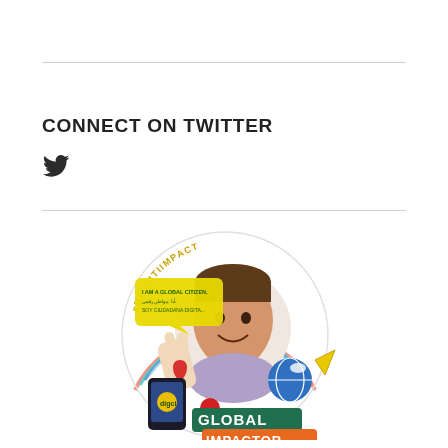CONNECT ON TWITTER
[Figure (illustration): Twitter bird icon (social media link symbol)]
[Figure (illustration): Circular badge illustration: person smiling in center, surrounded by colorful arcs, text '#DIGCITIIMPACT' curved at top, a speech bubble saying 'I AM A GLOBAL CITIZEN', a hand gesture, heart, phone with 'digci' logo, map pin, globe, paper airplane, and two banner ribbons reading 'GLOBAL IMPACTOR']